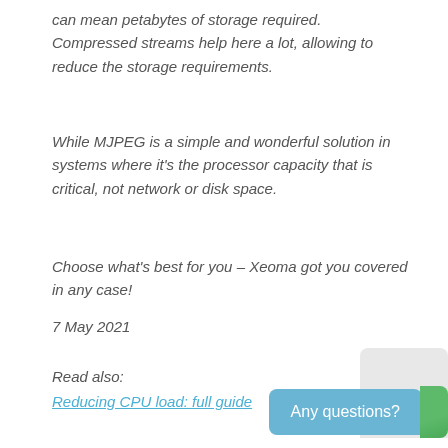can mean petabytes of storage required. Compressed streams help here a lot, allowing to reduce the storage requirements.
While MJPEG is a simple and wonderful solution in systems where it's the processor capacity that is critical, not network or disk space.
Choose what's best for you – Xeoma got you covered in any case!
7 May 2021
Read also:
Reducing CPU load: full guide